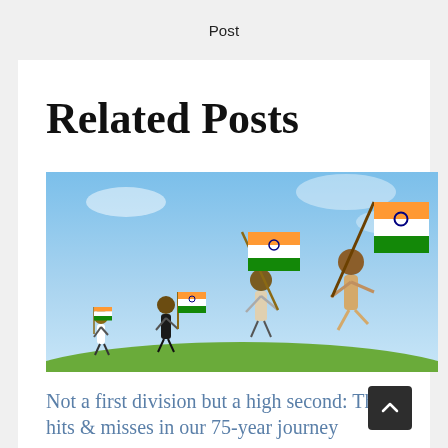Post
Related Posts
[Figure (photo): Children running and jumping joyfully while waving Indian national flags (tricolor - saffron, white, green with Ashoka Chakra) against a blue sky background with green grass below.]
Not a first division but a high second: The hits & misses in our 75-year journey